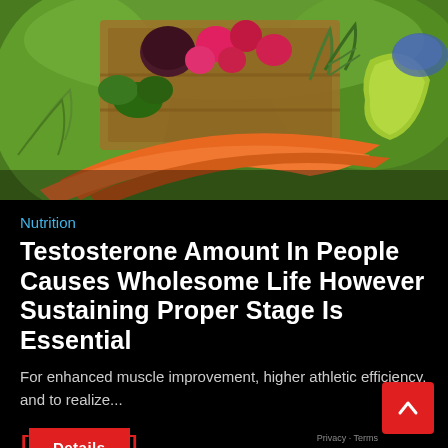[Figure (photo): Colorful fresh vegetables including carrots, radishes, beets, herbs, and peppers arranged in and around a wooden crate on a bright green outdoor background]
Nutrition
Testosterone Amount In People Causes Wholesome Life However Sustaining Proper Stage Is Essential
For enhanced muscle improvement, higher athletic efficiency, and to realize...
Details